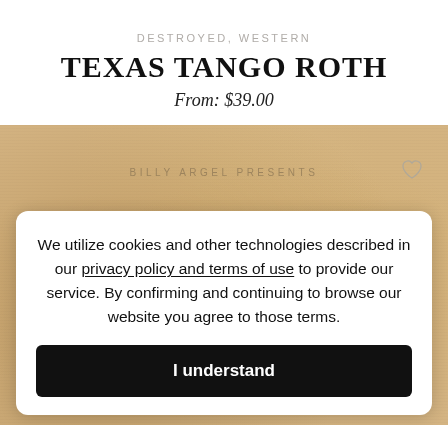DESTROYED, WESTERN
TEXAS TANGO ROTH
From: $39.00
[Figure (screenshot): Aged parchment/paper background with watermark text 'TEXAS TANGO' and pangram text, Billy Argel Presents label, heart icon]
We utilize cookies and other technologies described in our privacy policy and terms of use to provide our service. By confirming and continuing to browse our website you agree to those terms.
I understand